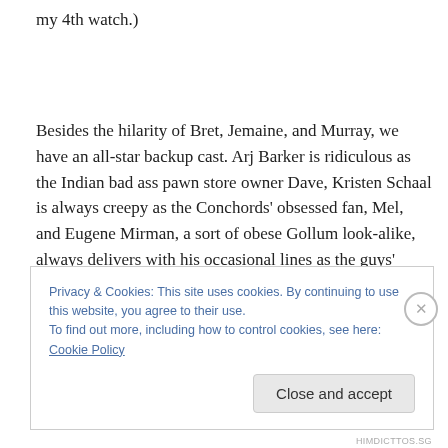my 4th watch.)
Besides the hilarity of Bret, Jemaine, and Murray, we have an all-star backup cast. Arj Barker is ridiculous as the Indian bad ass pawn store owner Dave, Kristen Schaal is always creepy as the Conchords' obsessed fan, Mel, and Eugene Mirman, a sort of obese Gollum look-alike, always delivers with his occasional lines as the guys' landlord,
Privacy & Cookies: This site uses cookies. By continuing to use this website, you agree to their use.
To find out more, including how to control cookies, see here: Cookie Policy
Close and accept
HIMDICTTOS.SG